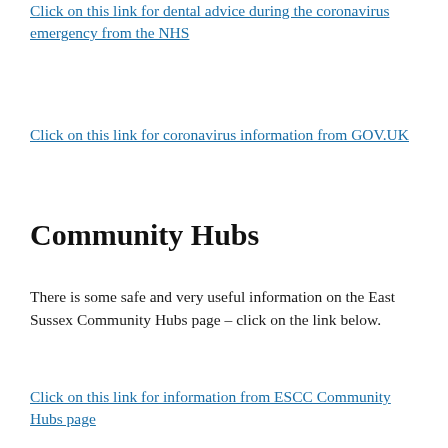Click on this link for dental advice during the coronavirus emergency from the NHS
Click on this link for coronavirus information from GOV.UK
Community Hubs
There is some safe and very useful information on the East Sussex Community Hubs page – click on the link below.
Click on this link for information from ESCC Community Hubs page